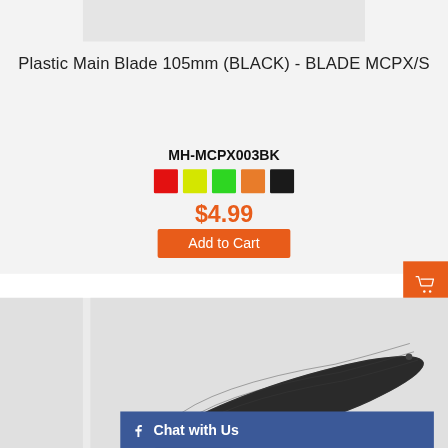Plastic Main Blade 105mm (BLACK) - BLADE MCPX/S
MH-MCPX003BK
$4.99
Add to Cart
[Figure (photo): Black carbon fiber patterned main blade for RC helicopter]
Chat with Us